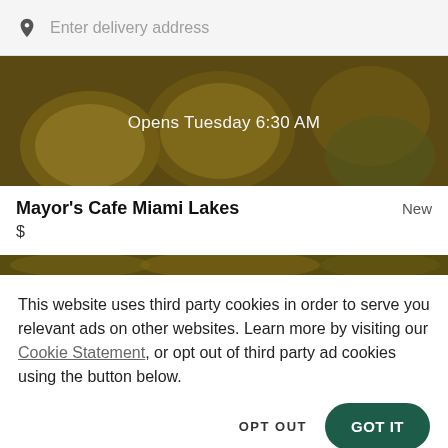Enter delivery address
[Figure (photo): Food image showing egg dishes and bowls, partially obscured by dark overlay, with text 'Opens Tuesday 6:30 AM' overlaid in white]
Mayor's Cafe Miami Lakes
New
$
[Figure (photo): Partial food image strip with dark olive/golden color tones]
This website uses third party cookies in order to serve you relevant ads on other websites. Learn more by visiting our Cookie Statement, or opt out of third party ad cookies using the button below.
OPT OUT
GOT IT